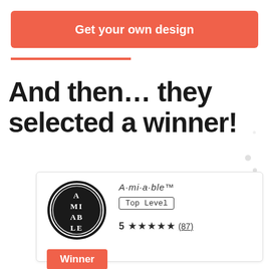Get your own design
And then... they selected a winner!
[Figure (logo): A·mi·a·ble™ designer logo — black circle with white double ring border containing stylized text A MI AB LE in white serif letters]
A·mi·a·ble™
Top Level
5 ★★★★★ (87)
Winner